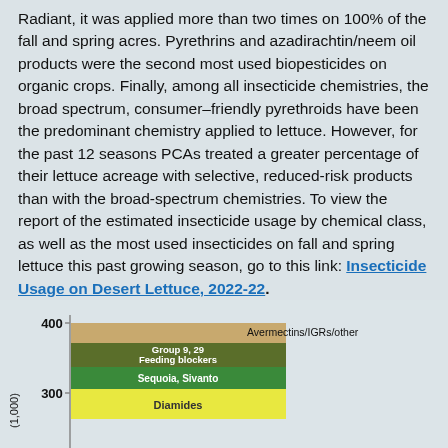Radiant, it was applied more than two times on 100% of the fall and spring acres. Pyrethrins and azadirachtin/neem oil products were the second most used biopesticides on organic crops. Finally, among all insecticide chemistries, the broad spectrum, consumer–friendly pyrethroids have been the predominant chemistry applied to lettuce. However, for the past 12 seasons PCAs treated a greater percentage of their lettuce acreage with selective, reduced-risk products than with the broad-spectrum chemistries. To view the report of the estimated insecticide usage by chemical class, as well as the most used insecticides on fall and spring lettuce this past growing season, go to this link: Insecticide Usage on Desert Lettuce, 2022-22.
[Figure (bar-chart): Partial bar chart showing stacked insecticide categories: Avermectins/IGRs/other (tan), Group 9, 29 Feeding blockers (olive/dark green), Sequoia, Sivanto (green), Diamides (yellow). Y-axis shows values 300 and 400 visible.]